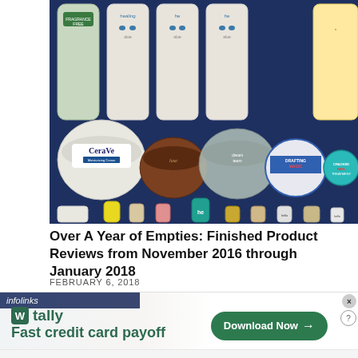[Figure (photo): Flat-lay photo of numerous skincare and beauty products (bottles, jars, tubes) arranged on a dark blue surface. Visible brands include CeraVe moisturizing cream, Healing Aloe products, and various small sample-size tubes.]
Over A Year of Empties: Finished Product Reviews from November 2016 through January 2018
FEBRUARY 6, 2018
[Figure (screenshot): Advertisement for Tally app. Shows 'infolinks' label bar over a background photo. Tally logo with green icon, tagline 'Fast credit card payoff', and a green 'Download Now' button with arrow. Close (x) and help (?) buttons in top right.]